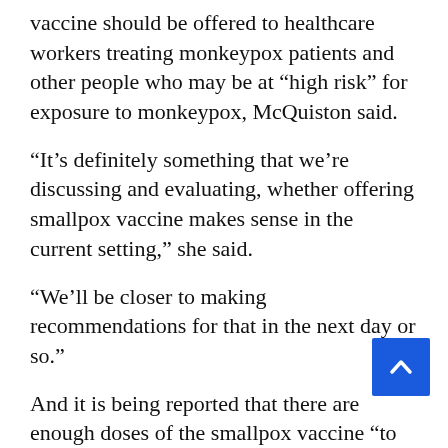vaccine should be offered to healthcare workers treating monkeypox patients and other people who may be at “high risk” for exposure to monkeypox, McQuiston said.
“It’s definitely something that we’re discussing and evaluating, whether offering smallpox vaccine makes sense in the current setting,” she said.
“We’ll be closer to making recommendations for that in the next day or so.”
And it is being reported that there are enough doses of the smallpox vaccine “to vaccinate basically everyone in the U.S.”…
And as another bioterrorism precaution, stockpiles of three smallpox vaccines are large enough “to vaccinate basically everyone in the U.S.” Inglesby said. And the plan is to continue to smallpox...